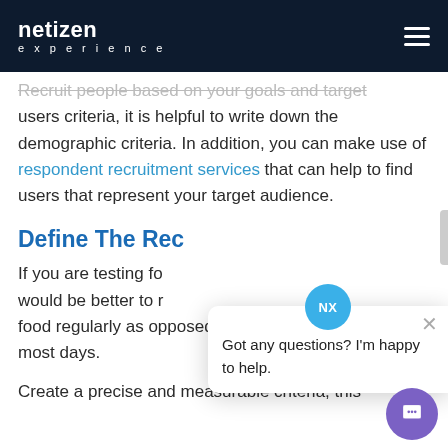netizen experience
Recruit people based on your goals and target users criteria, it is helpful to write down the demographic criteria. In addition, you can make use of respondent recruitment services that can help to find users that represent your target audience.
Define The Rec
If you are testing fo... would be better to r... food regularly as opposed to a person who cooks most days.
Create a precise and measurable criteria, this